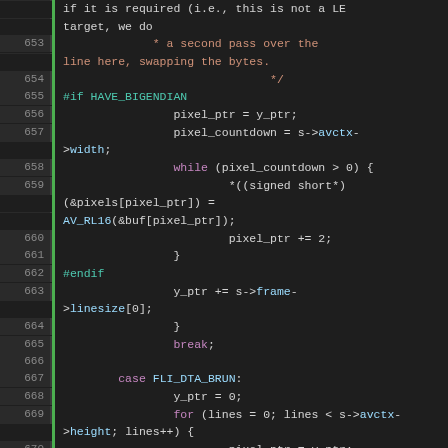[Figure (screenshot): Source code viewer showing C code lines 653-677 with syntax highlighting on dark background. Green bars mark line number gutter. Orange for comments and strings, teal for preprocessor directives, purple for keywords, cyan for identifiers, white/gray for plain code.]